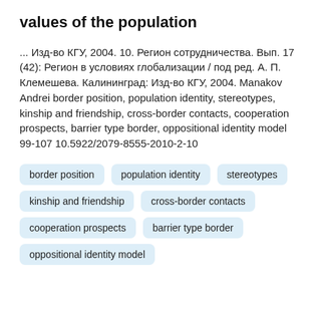values of the population
... Изд-во КГУ, 2004. 10. Регион сотрудничества. Вып. 17 (42): Регион в условиях глобализации / под ред. А. П. Клемешева. Калининград: Изд-во КГУ, 2004. Manakov Andrei border position, population identity, stereotypes, kinship and friendship, cross-border contacts, cooperation prospects, barrier type border, oppositional identity model 99-107 10.5922/2079-8555-2010-2-10
border position
population identity
stereotypes
kinship and friendship
cross-border contacts
cooperation prospects
barrier type border
oppositional identity model